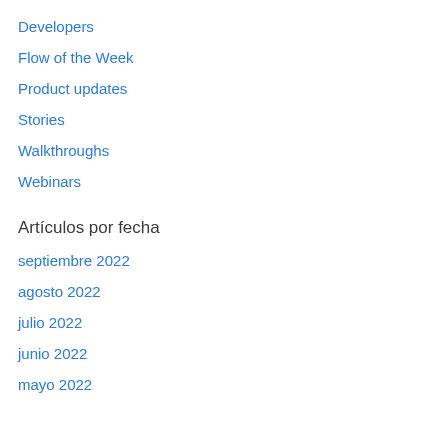Developers
Flow of the Week
Product updates
Stories
Walkthroughs
Webinars
Artículos por fecha
septiembre 2022
agosto 2022
julio 2022
junio 2022
mayo 2022